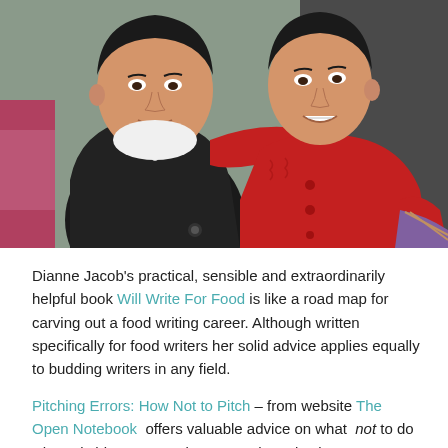[Figure (photo): Two women posing together and smiling. The woman on the left wears a dark jacket over a white top, the woman on the right wears a red cable-knit cardigan. They are standing close together in what appears to be an indoor or doorway setting.]
Dianne Jacob's practical, sensible and extraordinarily helpful book Will Write For Food is like a road map for carving out a food writing career. Although written specifically for food writers her solid advice applies equally to budding writers in any field.
Pitching Errors: How Not to Pitch – from website The Open Notebook offers valuable advice on what not to do when pitching a magazine story. They also keep an...